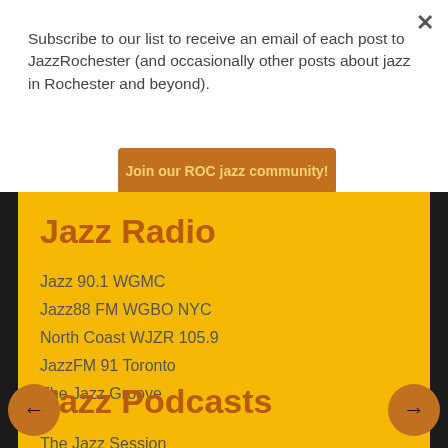Subscribe to our list to receive an email of each post to JazzRochester (and occasionally other posts about jazz in Rochester and beyond).
Join our ROC jazz community!
Jazz Radio
Jazz 90.1 WGMC
Jazz88 FM WGBO NYC
North Coast WJZR 105.9
JazzFM 91 Toronto
The Jazz Groove
Jazz Podcasts
The Jazz Session